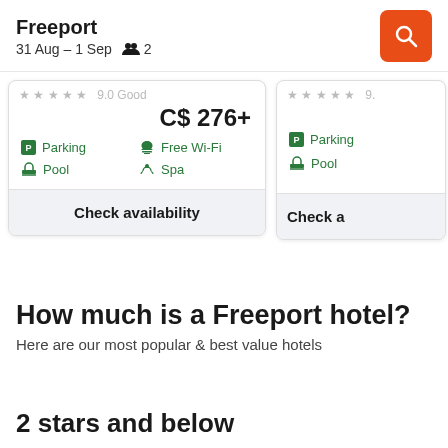Freeport
31 Aug – 1 Sep  2
C$ 276+
Parking
Free Wi-Fi
Pool
Spa
Check availability
Parking
Pool
Check a
How much is a Freeport hotel?
Here are our most popular & best value hotels
2 stars and below